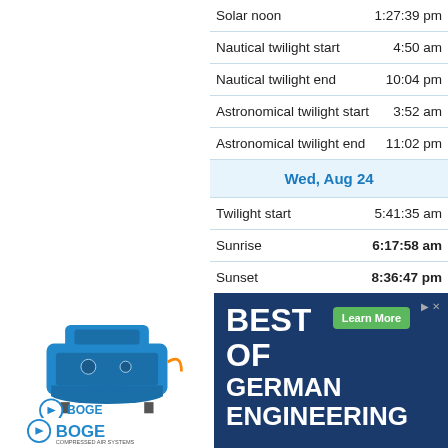| Event | Time |
| --- | --- |
| Solar noon | 1:27:39 pm |
| Nautical twilight start | 4:50 am |
| Nautical twilight end | 10:04 pm |
| Astronomical twilight start | 3:52 am |
| Astronomical twilight end | 11:02 pm |
| Wed, Aug 24 |  |
| Twilight start | 5:41:35 am |
| Sunrise | 6:17:58 am |
| Sunset | 8:36:47 pm |
| Twilight end | 9:13:11 pm |
[Figure (advertisement): BOGE Compressed Air Systems advertisement showing a blue industrial compressor on the left and 'Best of German Engineering' text on dark blue background on the right with a Learn More button.]